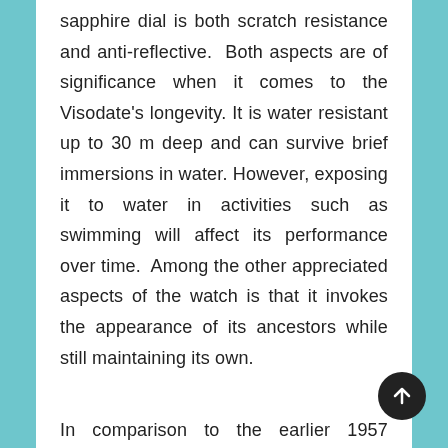sapphire dial is both scratch resistance and anti-reflective. Both aspects are of significance when it comes to the Visodate's longevity. It is water resistant up to 30 m deep and can survive brief immersions in water. However, exposing it to water in activities such as swimming will affect its performance over time. Among the other appreciated aspects of the watch is that it invokes the appearance of its ancestors while still maintaining its own.
In comparison to the earlier 1957 version, the hour hand has a distinct trapezoidal shape.